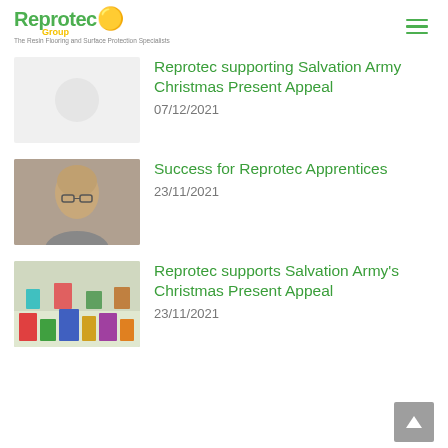Reprotec Group — The Resin Flooring and Surface Protection Specialists
Reprotec supporting Salvation Army Christmas Present Appeal
07/12/2021
Success for Reprotec Apprentices
23/11/2021
Reprotec supports Salvation Army's Christmas Present Appeal
23/11/2021